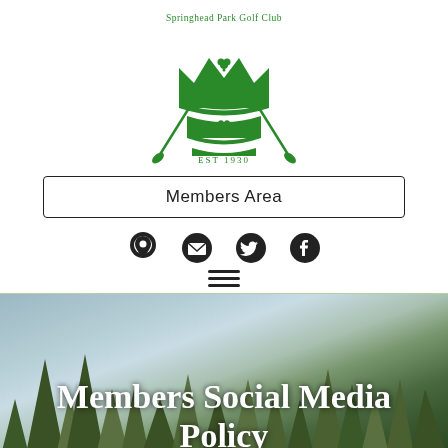[Figure (logo): Springhead Park Golf Club logo: green crown with crossed golf clubs and shamrocks, EST 1930]
Members Area
[Figure (infographic): Row of social icons: location pin, email envelope, Twitter bird, Facebook f]
[Figure (infographic): Hamburger menu icon (three horizontal lines)]
[Figure (photo): Outdoor photo of tall trees against a partly cloudy sky, used as a header background image]
Members Social Media Policy